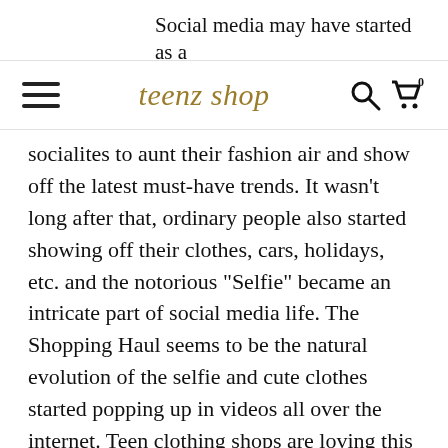Social media may have started as a way to keep in touch with family and
teenz shop
socialites to aunt their fashion air and show off the latest must-have trends. It wasn't long after that, ordinary people also started showing off their clothes, cars, holidays, etc. and the notorious “Selfie” became an intricate part of social media life. The Shopping Haul seems to be the natural evolution of the selfie and cute clothes started popping up in videos all over the internet. Teen clothing shops are loving this trend and are quietly encouraging it. Why wouldn't they? It's literally saturating the internet with free marketing.
SHOPPING HAS